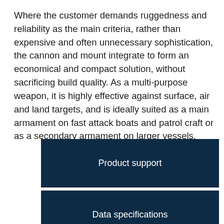Where the customer demands ruggedness and reliability as the main criteria, rather than expensive and often unnecessary sophistication, the cannon and mount integrate to form an economical and compact solution, without sacrificing build quality. As a multi-purpose weapon, it is highly effective against surface, air and land targets, and is ideally suited as a main armament on fast attack boats and patrol craft or as a secondary armament on larger vessels.
Product support
Data specifications